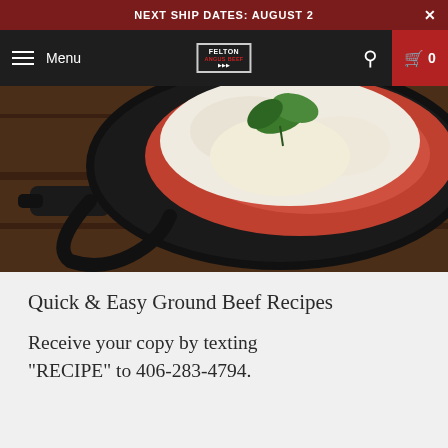NEXT SHIP DATES: AUGUST 2
[Figure (screenshot): Website navigation bar with hamburger menu, Felton Angus Beef logo, search icon, and cart button showing 0 items]
[Figure (photo): Cast iron skillet with baked pasta topped with melted mozzarella and fresh basil leaves, on a wooden surface]
Quick & Easy Ground Beef Recipes
Receive your copy by texting "RECIPE" to 406-283-4794.